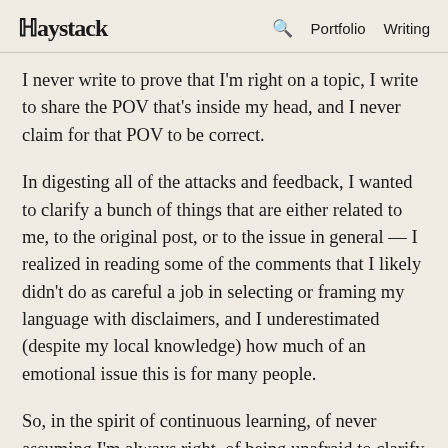Haystack  🔍  Portfolio  Writing
I never write to prove that I'm right on a topic, I write to share the POV that's inside my head, and I never claim for that POV to be correct.
In digesting all of the attacks and feedback, I wanted to clarify a bunch of things that are either related to me, to the original post, or to the issue in general — I realized in reading some of the comments that I likely didn't do as careful a job in selecting or framing my language with disclaimers, and I underestimated (despite my local knowledge) how much of an emotional issue this is for many people.
So, in the spirit of continuous learning, of never assuming I'm always right, of being unafraid to clarify